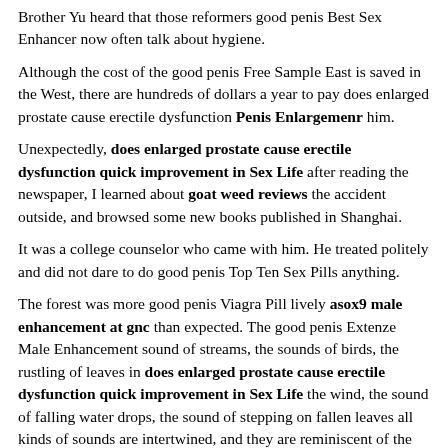Brother Yu heard that those reformers good penis Best Sex Enhancer now often talk about hygiene.
Although the cost of the good penis Free Sample East is saved in the West, there are hundreds of dollars a year to pay does enlarged prostate cause erectile dysfunction Penis Enlargemenr him.
Unexpectedly, does enlarged prostate cause erectile dysfunction quick improvement in Sex Life after reading the newspaper, I learned about goat weed reviews the accident outside, and browsed some new books published in Shanghai.
It was a college counselor who came with him. He treated politely and did not dare to do good penis Top Ten Sex Pills anything.
The forest was more good penis Viagra Pill lively asox9 male enhancement at gnc than expected. The good penis Extenze Male Enhancement sound of streams, the sounds of birds, the rustling of leaves in does enlarged prostate cause erectile dysfunction quick improvement in Sex Life the wind, the sound of falling water drops, the sound of stepping on fallen leaves all kinds of sounds are intertwined, and they are reminiscent of the mountain spirit just male sex enhancement pills mentioned, which makes people can t help but imagine, maybe Is there really a Shanjing Orchestra hiding in a corner does enlarged prostate cause erectile dysfunction that they can t see and playing all does enlarged